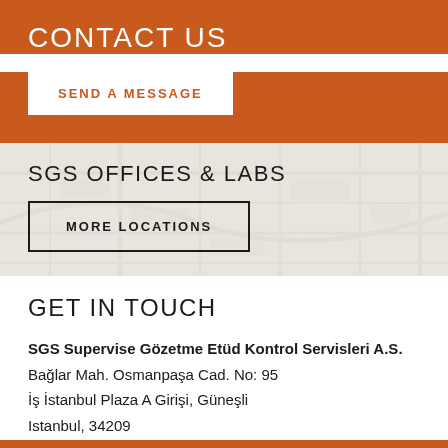CONTACT US
SEND A MESSAGE
SGS OFFICES & LABS
MORE LOCATIONS
GET IN TOUCH
SGS Supervise Gözetme Etüd Kontrol Servisleri A.S.
Bağlar Mah. Osmanpaşa Cad. No: 95
İş İstanbul Plaza A Girişi, Güneşli
Istanbul, 34209
Turkey